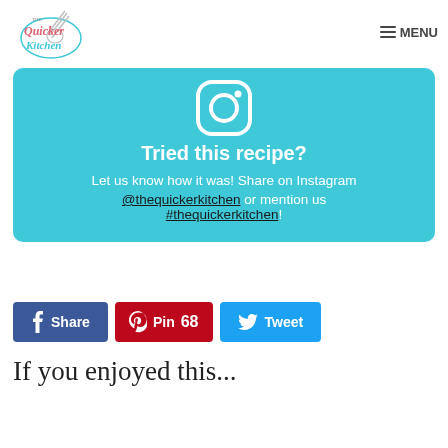The Quicker Kitchen | MENU
[Figure (infographic): Teal/cyan rounded card with Instagram camera icon at top, bold white text 'Tried this recipe?', subtitle 'Let us know how it was! Share on Instagram @thequickerkitchen or mention us #thequickerkitchen!']
Tried this recipe? Let us know how it was! Share on Instagram @thequickerkitchen or mention us #thequickerkitchen!
Share | Pin 68 | Tweet
If you enjoyed this...